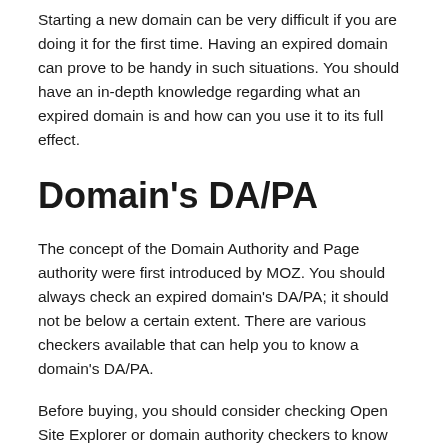Starting a new domain can be very difficult if you are doing it for the first time. Having an expired domain can prove to be handy in such situations. You should have an in-depth knowledge regarding what an expired domain is and how can you use it to its full effect.
Domain's DA/PA
The concept of the Domain Authority and Page authority were first introduced by MOZ. You should always check an expired domain's DA/PA; it should not be below a certain extent. There are various checkers available that can help you to know a domain's DA/PA.
Before buying, you should consider checking Open Site Explorer or domain authority checkers to know the value of the domain that you are planning to buy. It is deemed to be useful to have or purchase a domain with at least DA 25+. This could drastically affect your